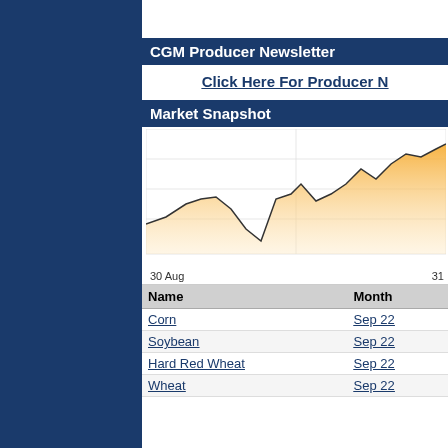CGM Producer Newsletter
Click Here For Producer Newsletter
Market Snapshot
[Figure (area-chart): Area chart showing commodity price over time from 30 Aug to 31, with orange shaded area under a line that peaks near the right side.]
| Name | Month |
| --- | --- |
| Corn | Sep 22 |
| Soybean | Sep 22 |
| Hard Red Wheat | Sep 22 |
| Wheat | Sep 22 |